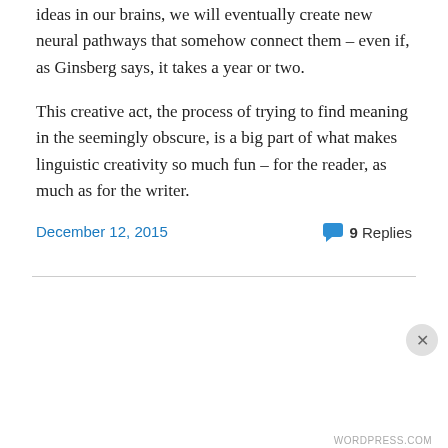ideas in our brains, we will eventually create new neural pathways that somehow connect them – even if, as Ginsberg says, it takes a year or two.
This creative act, the process of trying to find meaning in the seemingly obscure, is a big part of what makes linguistic creativity so much fun – for the reader, as much as for the writer.
December 12, 2015
9 Replies
Privacy & Cookies: This site uses cookies. By continuing to use this website, you agree to their use.
To find out more, including how to control cookies, see here: Cookie Policy
Close and accept